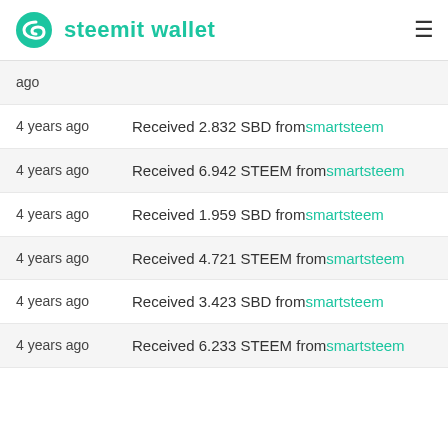steemit wallet
4 years ago — (partial row at top)
4 years ago — Received 2.832 SBD from smartsteem
4 years ago — Received 6.942 STEEM from smartsteem
4 years ago — Received 1.959 SBD from smartsteem
4 years ago — Received 4.721 STEEM from smartsteem
4 years ago — Received 3.423 SBD from smartsteem
4 years ago — Received 6.233 STEEM from smartsteem